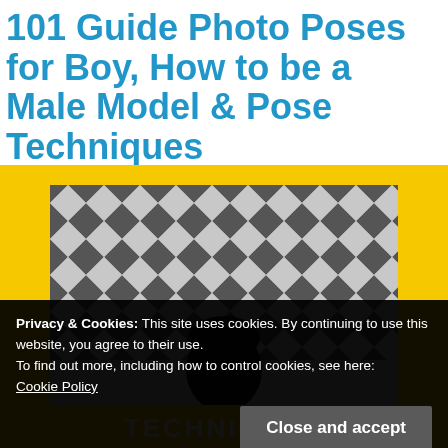101 Guide Photo Poses for Boy, How to be a Male Model & Pose Techniques
[Figure (photo): A black and white photo of a young man with curly hair in front of a geometric patterned wall, set against a yellow background, with the word TECHNIQUES visible at the bottom of the image.]
Privacy & Cookies: This site uses cookies. By continuing to use this website, you agree to their use.
To find out more, including how to control cookies, see here:
Cookie Policy
Close and accept